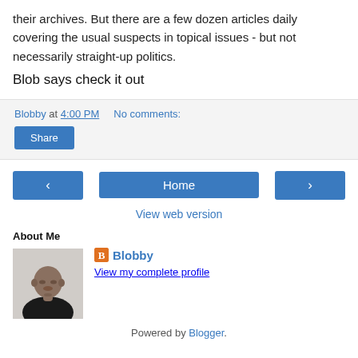their archives. But there are a few dozen articles daily covering the usual suspects in topical issues - but not necessarily straight-up politics.
Blob says check it out
Blobby at 4:00 PM    No comments:
Share
[Figure (screenshot): Navigation bar with left arrow, Home button, and right arrow buttons]
View web version
About Me
[Figure (photo): Profile photo of a bald man in dark clothing, facing slightly right]
Blobby
View my complete profile
Powered by Blogger.